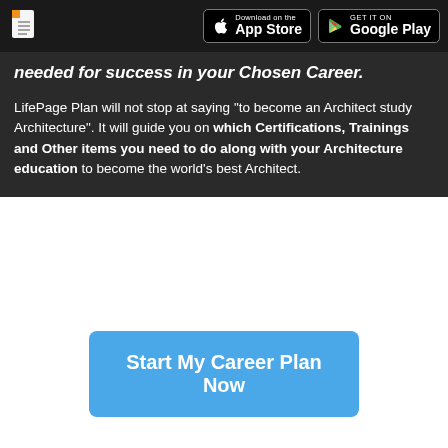needed for success in your Chosen Career.
LifePage Plan will not stop at saying "to become an Architect study Architecture". It will guide you on which Certifications, Trainings and Other items you need to do along with your Architecture education to become the world's best Architect.
Start My Career Plan Now